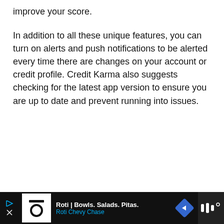improve your score.
In addition to all these unique features, you can turn on alerts and push notifications to be alerted every time there are changes on your account or credit profile. Credit Karma also suggests checking for the latest app version to ensure you are up to date and prevent running into issues.
[Figure (infographic): Advertisement banner at the bottom of the page. Black background with Roti | Bowls. Salads. Pitas. advertisement showing a play button icon, close/X control, Roti logo icon, ad title text, cyan subtitle 'Roti Chevy Chase', a blue diamond navigation icon, and a white audio/sound icon logo on dark right panel.]